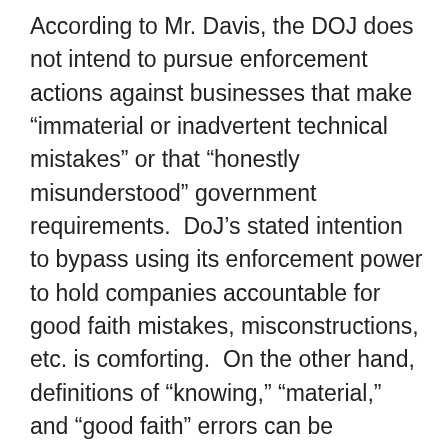According to Mr. Davis, the DOJ does not intend to pursue enforcement actions against businesses that make “immaterial or inadvertent technical mistakes” or that “honestly misunderstood” government requirements.  DoJ’s stated intention to bypass using its enforcement power to hold companies accountable for good faith mistakes, misconstructions, etc. is comforting.  On the other hand, definitions of “knowing,” “material,” and “good faith” errors can be ambiguous and are subject to interpretation.
There are several steps individuals and companies can take to avoid potential liability if their PPP